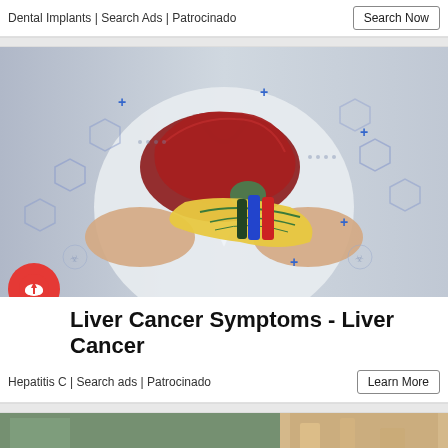Dental Implants | Search Ads | Patrocinado
Search Now
[Figure (photo): Medical professional in white coat holding a 3D holographic illustration of liver and pancreas organs, surrounded by medical icons and hexagonal network graphics]
Liver Cancer Symptoms - Liver Cancer
Hepatitis C | Search ads | Patrocinado
Learn More
[Figure (photo): Partial view of a medical setting with a person with curly dark hair visible at the bottom of the page]